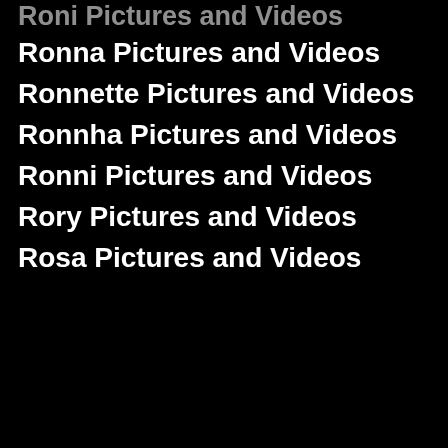Roni Pictures and Videos
Ronna Pictures and Videos
Ronnette Pictures and Videos
Ronnha Pictures and Videos
Ronni Pictures and Videos
Rory Pictures and Videos
Rosa Pictures and Videos